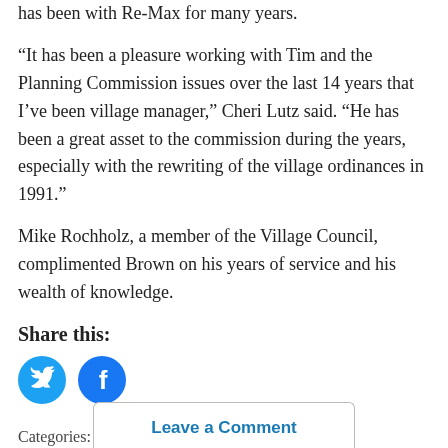has been with Re-Max for many years.
“It has been a pleasure working with Tim and the Planning Commission issues over the last 14 years that I’ve been village manager,” Cheri Lutz said. “He has been a great asset to the commission during the years, especially with the rewriting of the village ordinances in 1991.”
Mike Rochholz, a member of the Village Council, complimented Brown on his years of service and his wealth of knowledge.
Share this:
[Figure (other): Twitter and Facebook social share icon buttons (blue circles with bird and f icons)]
Categories: Government, News, Schoolcraft
Leave a Comment